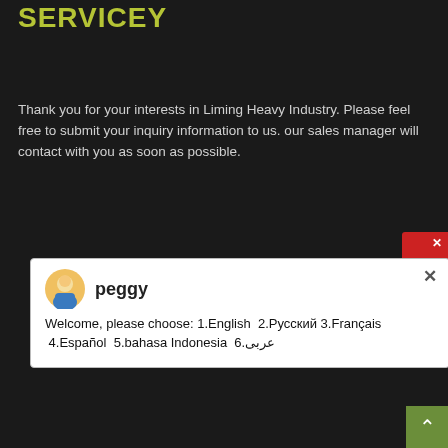SERVICEY
Thank you for your interests in Liming Heavy Industry. Please feel free to submit your inquiry information to us. our sales manager will contact with you as soon as possible.
[Figure (screenshot): Chat popup with avatar of peggy. Message reads: Welcome, please choose: 1.English 2.Русский 3.Français 4.Español 5.bahasa Indonesia 6.عربى]
cement line crushing in south africa
crusher kazakhstan coal
portable jaw crushing plant for sale